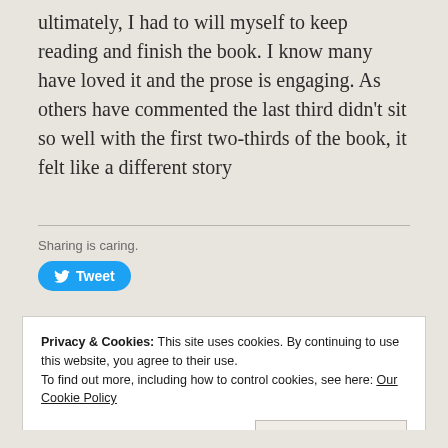ultimately, I had to will myself to keep reading and finish the book. I know many have loved it and the prose is engaging. As others have commented the last third didn't sit so well with the first two-thirds of the book, it felt like a different story
Sharing is caring.
[Figure (other): Twitter Tweet button (blue rounded button with bird icon and 'Tweet' label)]
Privacy & Cookies: This site uses cookies. By continuing to use this website, you agree to their use.
To find out more, including how to control cookies, see here: Our Cookie Policy
Close and accept